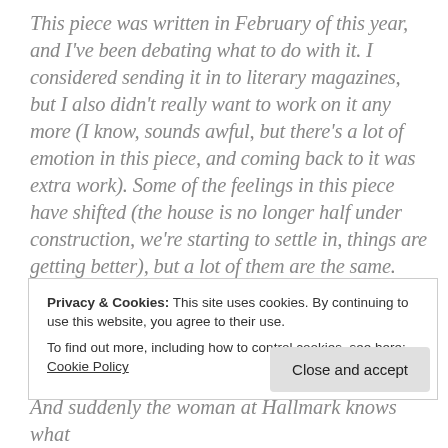This piece was written in February of this year, and I've been debating what to do with it. I considered sending it in to literary magazines, but I also didn't really want to work on it any more (I know, sounds awful, but there's a lot of emotion in this piece, and coming back to it was extra work). Some of the feelings in this piece have shifted (the house is no longer half under construction, we're starting to settle in, things are getting better), but a lot of them are the same. Still don't like it here very much. Still feel my heart ache when I think about our old home. Still don't know when or if we'll ever make it back to the PNW.
Privacy & Cookies: This site uses cookies. By continuing to use this website, you agree to their use.
To find out more, including how to control cookies, see here: Cookie Policy
Close and accept
And suddenly the woman at Hallmark knows what